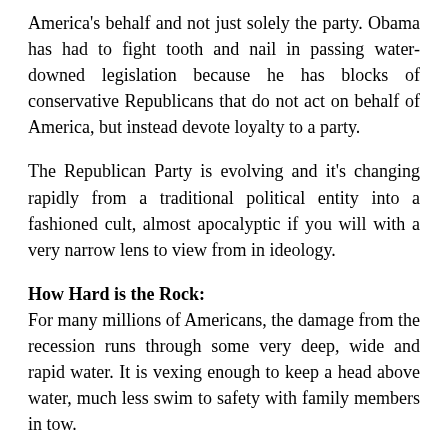America's behalf and not just solely the party. Obama has had to fight tooth and nail in passing water-downed legislation because he has blocks of conservative Republicans that do not act on behalf of America, but instead devote loyalty to a party.
The Republican Party is evolving and it's changing rapidly from a traditional political entity into a fashioned cult, almost apocalyptic if you will with a very narrow lens to view from in ideology.
How Hard is the Rock:
For many millions of Americans, the damage from the recession runs through some very deep, wide and rapid water. It is vexing enough to keep a head above water, much less swim to safety with family members in tow.
If you are one of those that lost his or her job during this bad fall in the economy, then you understand perfectly